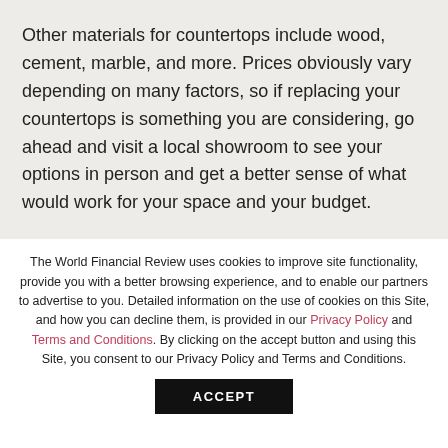Other materials for countertops include wood, cement, marble, and more. Prices obviously vary depending on many factors, so if replacing your countertops is something you are considering, go ahead and visit a local showroom to see your options in person and get a better sense of what would work for your space and your budget.
The World Financial Review uses cookies to improve site functionality, provide you with a better browsing experience, and to enable our partners to advertise to you. Detailed information on the use of cookies on this Site, and how you can decline them, is provided in our Privacy Policy and Terms and Conditions. By clicking on the accept button and using this Site, you consent to our Privacy Policy and Terms and Conditions.
ACCEPT